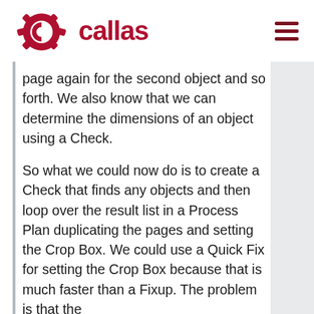callas
page again for the second object and so forth. We also know that we can determine the dimensions of an object using a Check.
So what we could now do is to create a Check that finds any objects and then loop over the result list in a Process Plan duplicating the pages and setting the Crop Box. We could use a Quick Fix for setting the Crop Box because that is much faster than a Fixup. The problem is that the